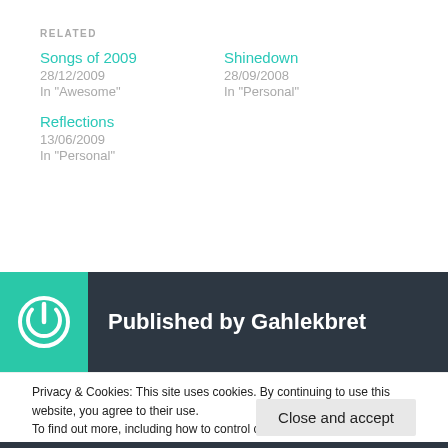RELATED
Songs of 2009
28/12/2009
In "Awesome"
Shinedown
28/09/2008
In "Personal"
Reflections
13/06/2009
In "Personal"
Published by Gahlekbret
Privacy & Cookies: This site uses cookies. By continuing to use this website, you agree to their use.
To find out more, including how to control cookies, see here: Cookie Policy